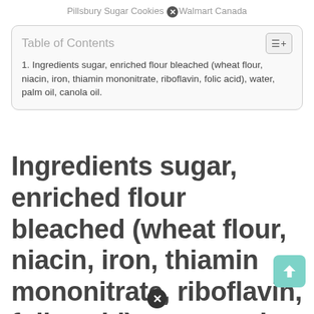Pillsbury Sugar Cookies [x] Walmart Canada
Table of Contents
1. Ingredients sugar, enriched flour bleached (wheat flour, niacin, iron, thiamin mononitrate, riboflavin, folic acid), water, palm oil, canola oil.
Ingredients sugar, enriched flour bleached (wheat flour, niacin, iron, thiamin mononitrate, riboflavin, folic acid), water, palm oil, canola oil.